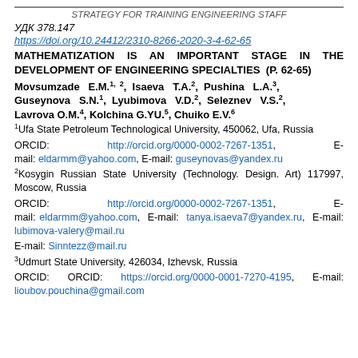STRATEGY FOR TRAINING ENGINEERING STAFF
УДК 378.147
https://doi.org/10.24412/2310-8266-2020-3-4-62-65
MATHEMATIZATION IS AN IMPORTANT STAGE IN THE DEVELOPMENT OF ENGINEERING SPECIALTIES (P. 62-65)
Movsumzade E.M.1, 2, Isaeva T.A.2, Pushina L.A.3, Guseynova S.N.1, Lyubimova V.D.2, Seleznev V.S.2, Lavrova O.M.4, Kolchina G.YU.5, Chuiko E.V.6
1Ufa State Petroleum Technological University, 450062, Ufa, Russia
ORCID: http://orcid.org/0000-0002-7267-1351, E-mail: eldarmm@yahoo.com, E-mail: guseynovas@yandex.ru
2Kosygin Russian State University (Technology. Design. Art) 117997, Moscow, Russia
ORCID: http://orcid.org/0000-0002-7267-1351, E-mail: eldarmm@yahoo.com, E-mail: tanya.isaeva7@yandex.ru, E-mail: lubimova-valery@mail.ru
E-mail: Sinntezz@mail.ru
3Udmurt State University, 426034, Izhevsk, Russia
ORCID: ORCID: https://orcid.org/0000-0001-7270-4195, E-mail: lioubov.pouchina@gmail.com